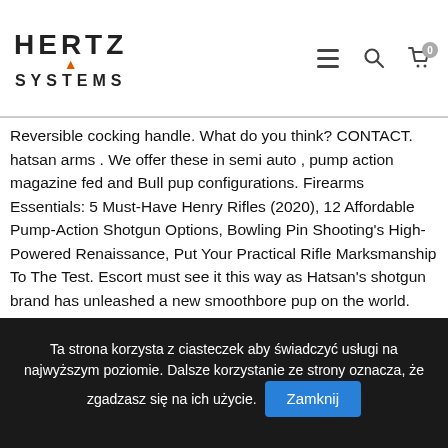HERTZ SYSTEMS — logo with navigation icons (hamburger menu, search, cart with 0 badge)
bullpup gas operated semi-automatic shotgun - .410 cal • 5 Semi-rechambered... 2 3/4" and 3" shells. Detachable box mag... roof chrome plated steel barrels. Reversible cocking handle. What do you think? CONTACT. hatsan arms . We offer these in semi auto , pump action magazine fed and Bull pup configurations. Firearms Essentials: 5 Must-Have Henry Rifles (2020), 12 Affordable Pump-Action Shotgun Options, Bowling Pin Shooting's High-Powered Renaissance, Put Your Practical Rifle Marksmanship To The Test. Escort must see it this way as Hatsan's shotgun brand has unleashed a new smoothbore pup on the world. Spring/Vortex Powered Airguns: Break Barrel Series SpeedFire Break Barrel Repeater Torpedo Under-Lever Series Dominator Series Proxima Under-Lever Repeater Mod 25 SuperCharger Pistol... For the price, we think it's one of the best airguns available in the bullpup category. The hard chrome and/or Cerakote coatings are built to withstand the harshest conditions and look good while doing
Ta strona korzysta z ciasteczek aby świadczyć usługi na najwyższym poziomie. Dalsze korzystanie ze strony oznacza, że zgadzasz się na ich użycie. Zamknij